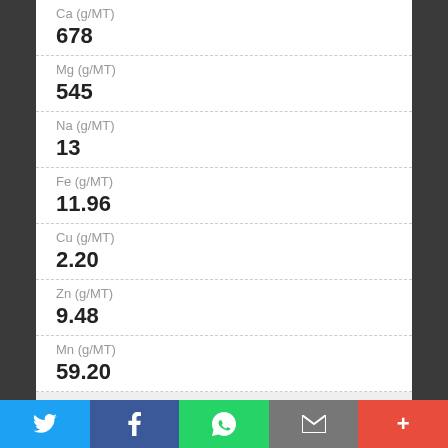| Parameter | Value |
| --- | --- |
| Ca (g/MT) | 678 |
| Mg (g/MT) | 545 |
| Na (g/MT) | 13 |
| Fe (g/MT) | 11.96 |
| Cu (g/MT) | 2.20 |
| Zn (g/MT) | 9.48 |
| Mn (g/MT) | 59.20 |
Quadrant
3